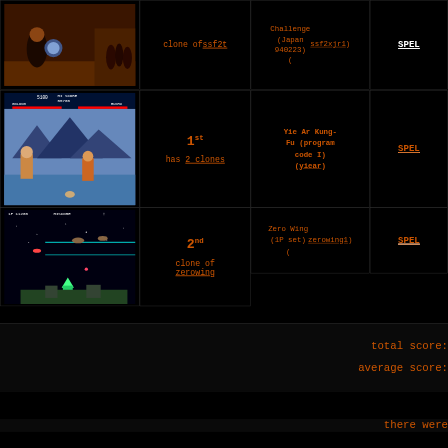[Figure (screenshot): Street Fighter II style fighting game screenshot showing characters in battle]
clone of ssf2t
Super Street Fighter II Turbo: The Grand Master Challenge (Japan 940223) (ssf2xjr1)
SPEL
[Figure (screenshot): Yie Ar Kung-Fu game screenshot showing blue mountain background with fighting characters]
1st has 2 clones
Yie Ar Kung-Fu (program code I) (yiear)
SPEL
[Figure (screenshot): Zero Wing space shooter game screenshot showing spacecraft in space]
2nd clone of zerowing
Zero Wing (1P set) (zerowing1)
SPEL
total score:
average score:
there were